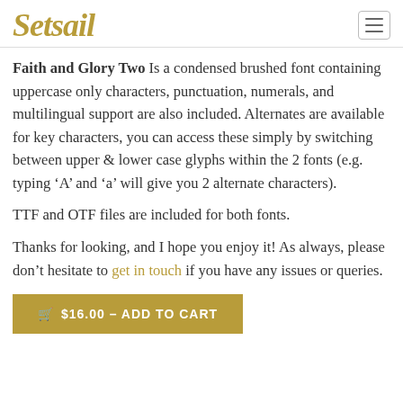Setsail [logo] with hamburger menu icon
Faith and Glory Two Is a condensed brushed font containing uppercase only characters, punctuation, numerals, and multilingual support are also included. Alternates are available for key characters, you can access these simply by switching between upper & lower case glyphs within the 2 fonts (e.g. typing ‘A’ and ‘a’ will give you 2 alternate characters).
TTF and OTF files are included for both fonts.
Thanks for looking, and I hope you enjoy it! As always, please don’t hesitate to get in touch if you have any issues or queries.
🛒 $16.00 – ADD TO CART